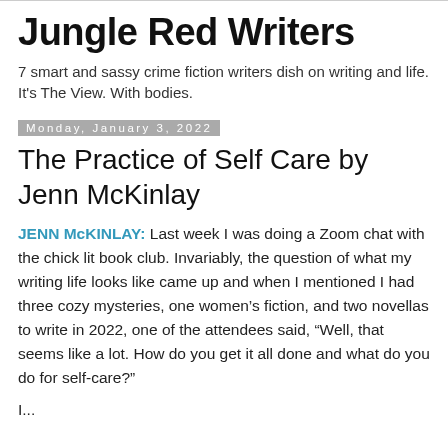Jungle Red Writers
7 smart and sassy crime fiction writers dish on writing and life. It's The View. With bodies.
Monday, January 3, 2022
The Practice of Self Care by Jenn McKinlay
JENN McKINLAY: Last week I was doing a Zoom chat with the chick lit book club. Invariably, the question of what my writing life looks like came up and when I mentioned I had three cozy mysteries, one women's fiction, and two novellas to write in 2022, one of the attendees said, “Well, that seems like a lot. How do you get it all done and what do you do for self-care?”
I...